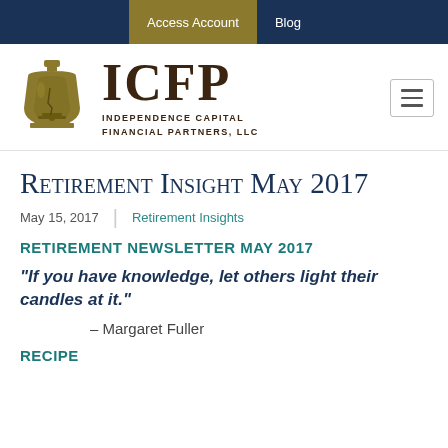Access Account | Blog
[Figure (logo): ICFP Independence Capital Financial Partners LLC logo with Liberty Bell icon in gold/brown and ICFP lettering]
Retirement Insight May 2017
May 15, 2017 | Retirement Insights
RETIREMENT NEWSLETTER MAY 2017
“If you have knowledge, let others light their candles at it.”
– Margaret Fuller
RECIPE